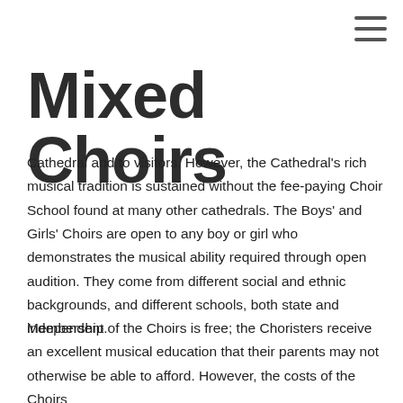≡
Mixed Choirs
Cathedral and to visitors. However, the Cathedral's rich musical tradition is sustained without the fee-paying Choir School found at many other cathedrals. The Boys' and Girls' Choirs are open to any boy or girl who demonstrates the musical ability required through open audition. They come from different social and ethnic backgrounds, and different schools, both state and independent.
Membership of the Choirs is free; the Choristers receive an excellent musical education that their parents may not otherwise be able to afford. However, the costs of the Choirs